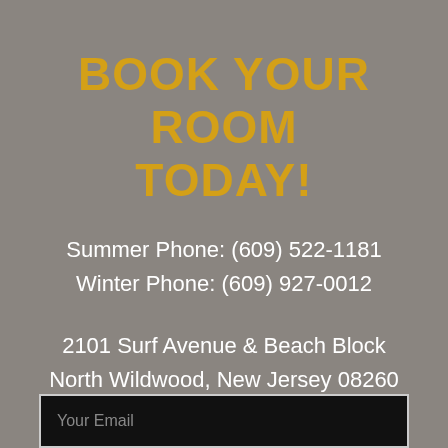BOOK YOUR ROOM TODAY!
Summer Phone: (609) 522-1181
Winter Phone: (609) 927-0012
2101 Surf Avenue & Beach Block
North Wildwood, New Jersey 08260
SIGN UP FOR OUR NEWSLETTER
Your Email